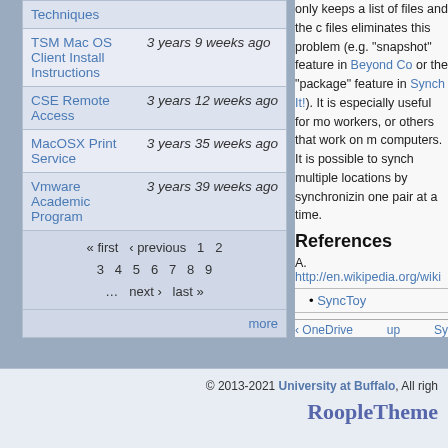Techniques
TSM Mac OS Client Install Instructions — 3 years 9 weeks ago
CSE Remote Access — 3 years 12 weeks ago
MacOSX Print Service — 3 years 35 weeks ago
Vmware Academic Program — 3 years 39 weeks ago
« first ‹ previous 1 2 3 4 5 6 7 8 9 … next › last » more
only keeps a list of files and the c files eliminates this problem (e.g "snapshot" feature in Beyond Co or the "package" feature in Synch It!). It is especially useful for mo workers, or others that work on m computers. It is possible to synch multiple locations by synchronizin one pair at a time.
References
A. http://en.wikipedia.org/wiki
SyncToy
‹ OneDrive    up    Sy
© 2013-2021 University at Buffalo, All righ
RoopleTheme